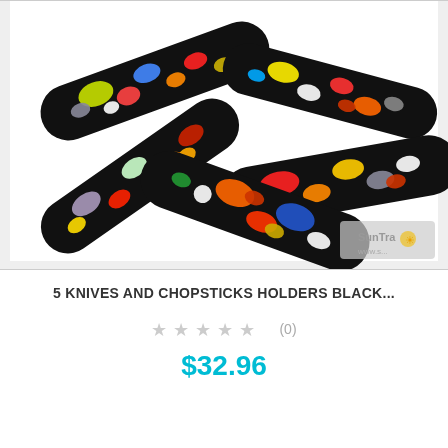[Figure (photo): Five black oval/capsule-shaped knife or chopstick rests with colorful confetti-like multicolored glass or enamel spots arranged on a white background. The items are arranged in a fan/cluster pattern. A watermark reading 'SunTraction' and a website URL appear in the bottom right corner.]
5 KNIVES AND CHOPSTICKS HOLDERS BLACK...
☆☆☆☆☆ (0)
$32.96